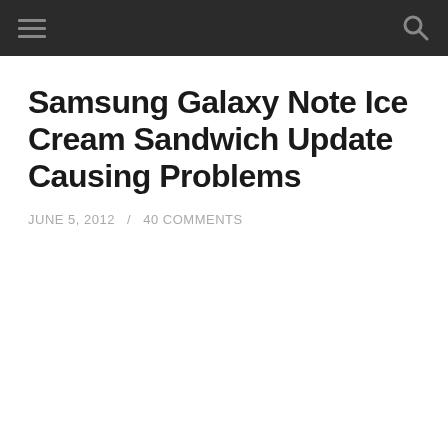navigation bar with hamburger menu and search icon
Samsung Galaxy Note Ice Cream Sandwich Update Causing Problems
JUNE 5, 2012 / 40 COMMENTS